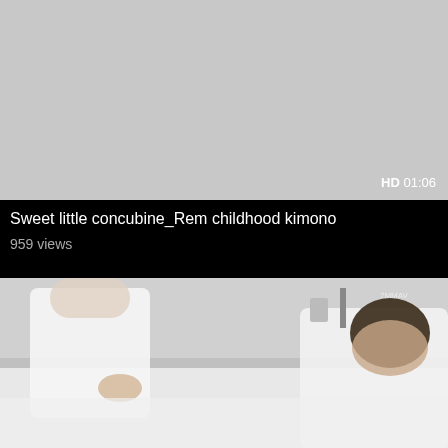[Figure (screenshot): Video thumbnail showing a light gray/silver placeholder image with HD badge and duration 01:06 in the bottom right corner]
Sweet little concubine_Rem childhood kimono
959 views
[Figure (screenshot): Video thumbnail showing two people in white clothing on a bed in a hotel room setting]